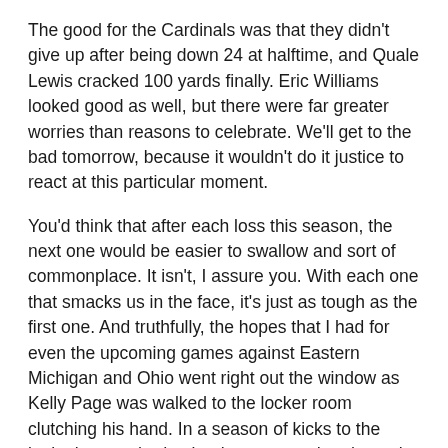The good for the Cardinals was that they didn't give up after being down 24 at halftime, and Quale Lewis cracked 100 yards finally. Eric Williams looked good as well, but there were far greater worries than reasons to celebrate. We'll get to the bad tomorrow, because it wouldn't do it justice to react at this particular moment.
You'd think that after each loss this season, the next one would be easier to swallow and sort of commonplace. It isn't, I assure you. With each one that smacks us in the face, it's just as tough as the first one. And truthfully, the hopes that I had for even the upcoming games against Eastern Michigan and Ohio went right out the window as Kelly Page was walked to the locker room clutching his hand. In a season of kicks to the junk, that one had to be the worst and perhaps the most damning.